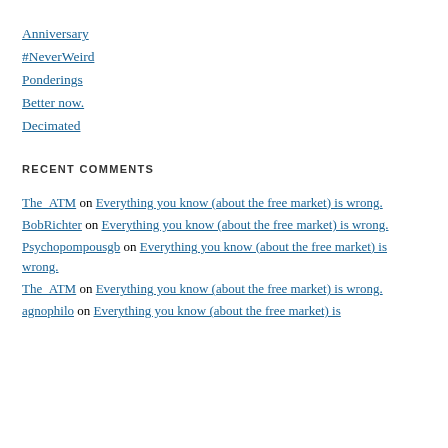Anniversary
#NeverWeird
Ponderings
Better now.
Decimated
RECENT COMMENTS
The_ATM on Everything you know (about the free market) is wrong.
BobRichter on Everything you know (about the free market) is wrong.
Psychopompousgb on Everything you know (about the free market) is wrong.
The_ATM on Everything you know (about the free market) is wrong.
agnophilo on Everything you know (about the free market) is